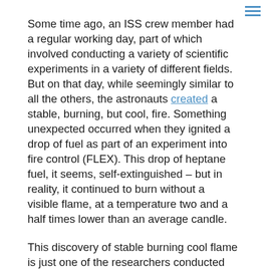Some time ago, an ISS crew member had a regular working day, part of which involved conducting a variety of scientific experiments in a variety of different fields. But on that day, while seemingly similar to all the others, the astronauts created a stable, burning, but cool, fire. Something unexpected occurred when they ignited a drop of fuel as part of an experiment into fire control (FLEX). This drop of heptane fuel, it seems, self-extinguished – but in reality, it continued to burn without a visible flame, at a temperature two and a half times lower than an average candle.
This discovery of stable burning cool flame is just one of the researchers conducted by ISS crews over the twenty-odd years of its existence. The ISS is the first international project of its type, uniting the strengths of different countries and decades of experience in space exploration.
This project has allowed astronauts to live in space for months, providing a strong push for the development of new sciences and technologies capable of solving humankind's...